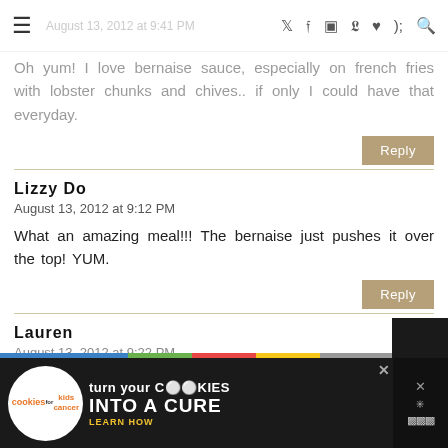August 13, 2012 at 9:41 PM — social icons
Oh yum! I love bernaise sauce, especially on french fries with lobster chunks and chives.. if only I could have that everyday.
Reply
Lizzy Do
August 13, 2012 at 9:12 PM
What an amazing meal!!! The bernaise just pushes it over the top! YUM.
Reply
Lauren
August 13, 2012 at 9:22 PM
[Figure (screenshot): Advertisement banner: Cookies for Kids Cancer — turn your COOKIES into a CURE LEARN HOW]